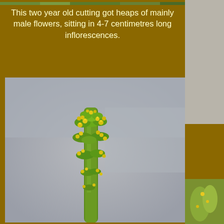[Figure (photo): Close-up photograph of a plant inflorescence spike with small yellow male flowers clustered along a green stem, photographed against a blurred grey background.]
This two year old cutting got heaps of mainly male flowers, sitting in 4-7 centimetres long inflorescences.